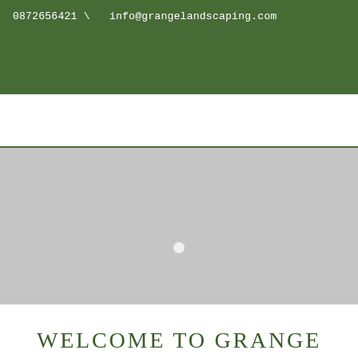0872656421 \   info@grangelandscaping.com
[Figure (photo): Gray placeholder image area representing a landscaping photograph, with a small white dot/play button near the center]
WELCOME TO GRANGE